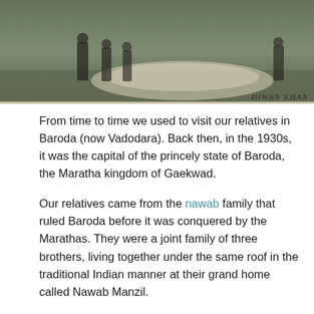[Figure (photo): A sepia-toned historical photograph showing figures standing outdoors, possibly a formal or ceremonial occasion. Caption reads 'Diwan Khan' in the lower right corner.]
From time to time we used to visit our relatives in Baroda (now Vadodara). Back then, in the 1930s, it was the capital of the princely state of Baroda, the Maratha kingdom of Gaekwad.
Our relatives came from the nawab family that ruled Baroda before it was conquered by the Marathas. They were a joint family of three brothers, living together under the same roof in the traditional Indian manner at their grand home called Nawab Manzil.
Nawab Manzil was an opulent home.  It housed our relatives and an array of staff - cooks, valets, sweepers and butlers, alongside accountants and secretaries. It was a sprawling and spacious residence. You entered it through a high wooden gate, and the front was supported by impressive wooden pillars, painted in soft yellows and greens. There was an inner courtyard and extensive garden, plus a majestic staircase leading to the bedrooms. It sparkled at nighttime, lit by gas lamps